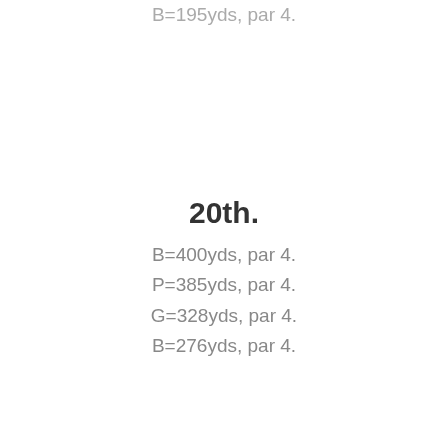B=195yds, par 4.
20th.
B=400yds, par 4.
P=385yds, par 4.
G=328yds, par 4.
B=276yds, par 4.